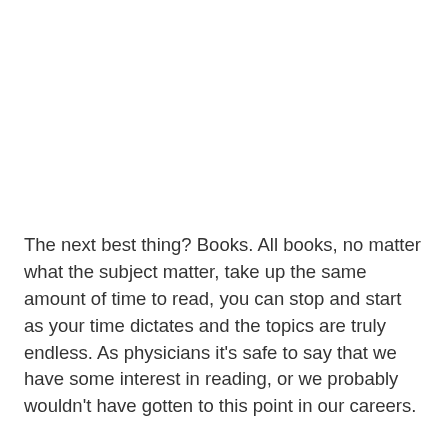The next best thing? Books. All books, no matter what the subject matter, take up the same amount of time to read, you can stop and start as your time dictates and the topics are truly endless. As physicians it's safe to say that we have some interest in reading, or we probably wouldn't have gotten to this point in our careers.